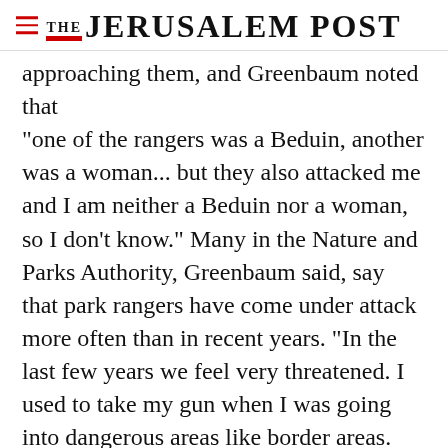THE JERUSALEM POST
approaching them, and Greenbaum noted that "one of the rangers was a Beduin, another was a woman... but they also attacked me and I am neither a Beduin nor a woman, so I don't know." Many in the Nature and Parks Authority, Greenbaum said, say that park rangers have come under attack more often than in recent years. "In the last few years we feel very threatened. I used to take my gun when I was going into dangerous areas like border areas.
Advertisement